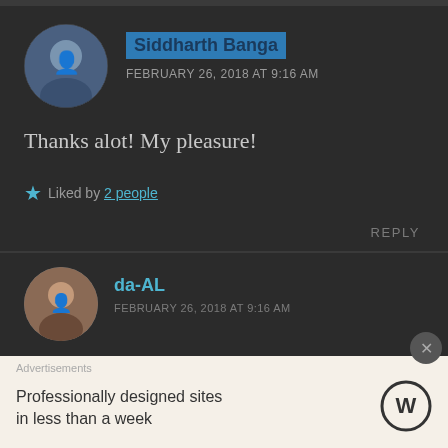Siddharth Banga
FEBRUARY 26, 2018 AT 9:16 AM
Thanks alot! My pleasure!
Liked by 2 people
REPLY
da-AL
Advertisements
Professionally designed sites in less than a week